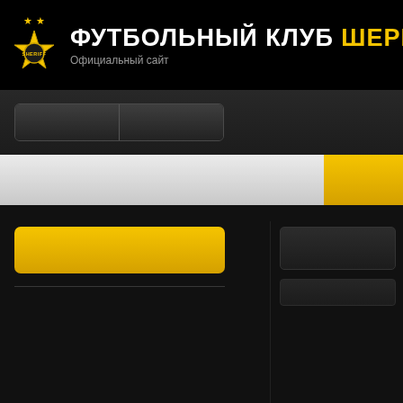[Figure (logo): FC Sheriff football club logo — gold star badge with two yellow stars above, white and yellow text header reading ФУТБОЛЬНЫЙ КЛУБ ШЕРИ (Sheriff)]
ФУТБОЛЬНЫЙ КЛУБ ШЕРИ
Официальный сайт
[Figure (screenshot): Navigation bar with two joined dark rounded buttons, followed by a two-tone progress/loading bar in white and yellow]
[Figure (screenshot): Main content layout with a yellow button on the left column, a dividing line, and dark panels on the right column]